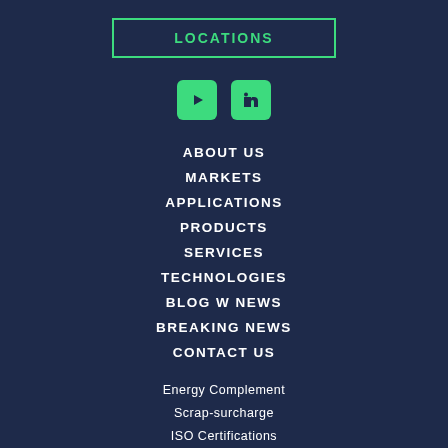LOCATIONS
[Figure (other): Social media icons: YouTube and LinkedIn in green rounded square boxes]
ABOUT US
MARKETS
APPLICATIONS
PRODUCTS
SERVICES
TECHNOLOGIES
BLOG W NEWS
BREAKING NEWS
CONTACT US
Energy Complement
Scrap-surcharge
ISO Certifications
Safety Data Sheet (SDS)
Phenics
Pressroom
Contact us
Privacy Policy
Legal Notice